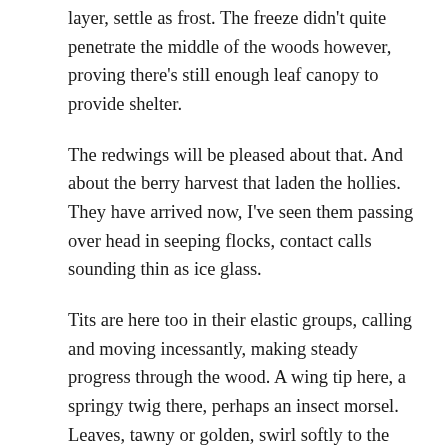layer, settle as frost. The freeze didn't quite penetrate the middle of the woods however, proving there's still enough leaf canopy to provide shelter.
The redwings will be pleased about that. And about the berry harvest that laden the hollies. They have arrived now, I've seen them passing over head in seeping flocks, contact calls sounding thin as ice glass.
Tits are here too in their elastic groups, calling and moving incessantly, making steady progress through the wood. A wing tip here, a springy twig there, perhaps an insect morsel. Leaves, tawny or golden, swirl softly to the ground in their wake. Most of the leaves make it to the woodland floor, but some are halted a few feet from their final resting place, caught on barbed bramble stems, bent bracken fronds, the withered skeleton cage of undergrowth. This is where the wren creeps, hops and scuttles, throwing her voice at the sun and the b...